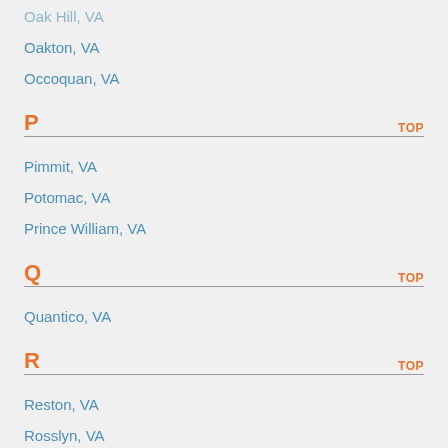Oak Hill, VA
Oakton, VA
Occoquan, VA
P
Pimmit, VA
Potomac, VA
Prince William, VA
Q
Quantico, VA
R
Reston, VA
Rosslyn, VA
Ruby, VA